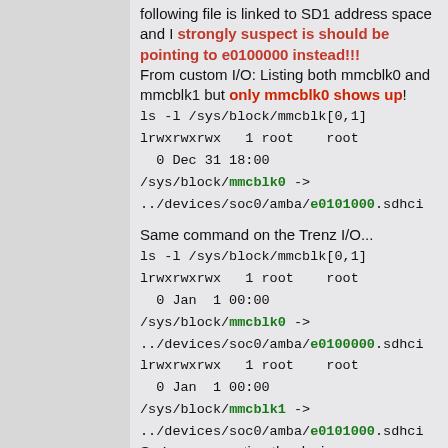following file is linked to SD1 address space and I strongly suspect is should be pointing to e0100000 instead!!! From custom I/O: Listing both mmcblk0 and mmcblk1 but only mmcblk0 shows up! ls -l /sys/block/mmcblk[0,1] lrwxrwxrwx 1 root root 0 Dec 31 18:00 /sys/block/mmcblk0 -> ../devices/soc0/amba/e0101000.sdhci Same command on the Trenz I/O... ls -l /sys/block/mmcblk[0,1] lrwxrwxrwx 1 root root 0 Jan 1 00:00 /sys/block/mmcblk0 -> ../devices/soc0/amba/e0100000.sdhci lrwxrwxrwx 1 root root 0 Jan 1 00:00 /sys/block/mmcblk1 -> ../devices/soc0/amba/e0101000.sdhci So I am suspecting the device tree somewhere along the line is